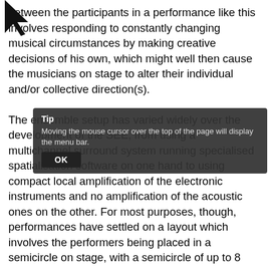between the participants in a performance like this involves responding to constantly changing musical circumstances by making creative decisions of his own, which might well then cause the musicians on stage to alter their individual and/or collective direction(s).

The ensemble setup has varied widely over the development of the SEE, from using a multichannel surround system running specialised spatialisation software on one hand to using compact local amplification of the electronic instruments and no amplification of the acoustic ones on the other. For most purposes, though, performances have settled on a layout which involves the performers being placed in a semicircle on stage, with a semicircle of up to 8 loudspeakers behind them on stands. The advantage of this system is that no separate onstage monitors are necessary, and the sound image for the audience is spread across the stage in a way that realistically reflects the positions of the players, also when players are using stereo outputs which can then be fed to a suitable pair of speakers within the array. If other loudspeakers are available, which they generally are in Sonology concerts, Marko will often bring those also into play, either as a general feature of the whole
[Figure (screenshot): A tooltip dialog overlay with title 'Tip', body text 'Moving the mouse cursor over the top of the page will display the menu bar.', and an OK button.]